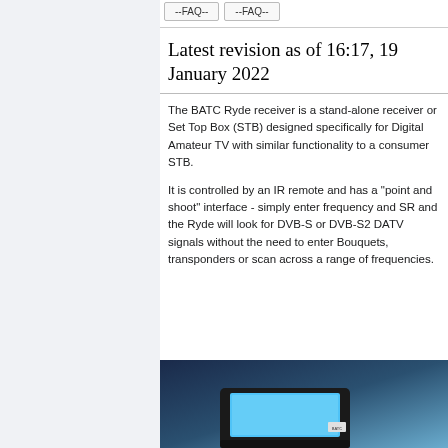--FAQ--   --FAQ--
Latest revision as of 16:17, 19 January 2022
The BATC Ryde receiver is a stand-alone receiver or Set Top Box (STB) designed specifically for Digital Amateur TV with similar functionality to a consumer STB.
It is controlled by an IR remote and has a "point and shoot" interface - simply enter frequency and SR and the Ryde will look for DVB-S or DVB-S2 DATV signals without the need to enter Bouquets, transponders or scan across a range of frequencies.
[Figure (photo): Photo of a BATC Ryde receiver device showing a screen with blue display and the BATC logo]